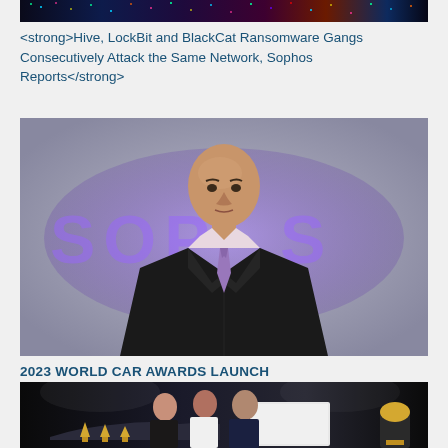[Figure (photo): Dark cyberpunk/digital background image with colorful pixel/matrix-style graphics in blue, purple, green, and red tones at the top of the page]
<strong>Hive, LockBit and BlackCat Ransomware Gangs Consecutively Attack the Same Network, Sophos Reports</strong>
[Figure (photo): Professional headshot of a bald man in a dark suit with a purple tie, standing in front of a blurred Sophos company logo background illuminated in purple/blue light]
2023 WORLD CAR AWARDS LAUNCH
[Figure (photo): Group of three men in dark suits at a formal car awards event, standing in front of a vehicle with trophies/awards visible in the foreground, dark background with event lighting]